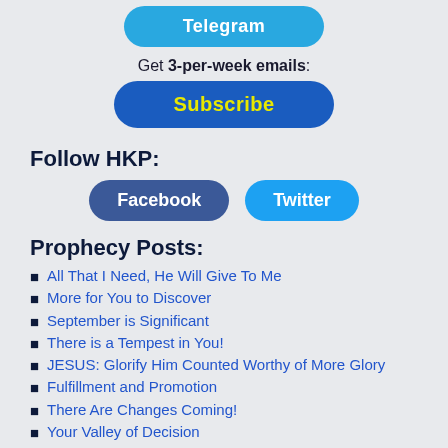[Figure (other): Telegram button - blue rounded rectangle with white bold text 'Telegram']
Get 3-per-week emails:
[Figure (other): Subscribe button - blue rounded rectangle with yellow bold text 'Subscribe']
Follow HKP:
[Figure (other): Facebook and Twitter social buttons side by side]
Prophecy Posts:
All That I Need, He Will Give To Me
More for You to Discover
September is Significant
There is a Tempest in You!
JESUS: Glorify Him Counted Worthy of More Glory
Fulfillment and Promotion
There Are Changes Coming!
Your Valley of Decision
“Clean Sweep! Watch What I AM About To Do!”
How Do You See Revival?
Here I Come